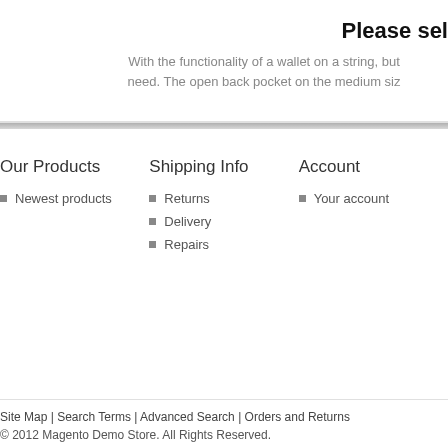Please sel
With the functionality of a wallet on a string, but need. The open back pocket on the medium siz
Our Products
Newest products
Shipping Info
Returns
Delivery
Repairs
Account
Your account
Site Map | Search Terms | Advanced Search | Orders and Returns
© 2012 Magento Demo Store. All Rights Reserved.